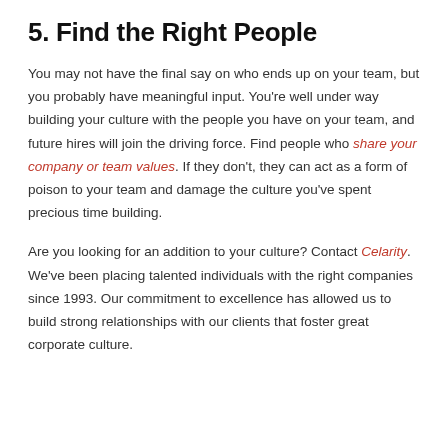5. Find the Right People
You may not have the final say on who ends up on your team, but you probably have meaningful input. You're well under way building your culture with the people you have on your team, and future hires will join the driving force. Find people who share your company or team values. If they don't, they can act as a form of poison to your team and damage the culture you've spent precious time building.
Are you looking for an addition to your culture? Contact Celarity. We've been placing talented individuals with the right companies since 1993. Our commitment to excellence has allowed us to build strong relationships with our clients that foster great corporate culture.